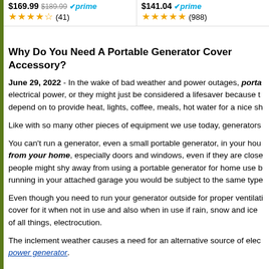$169.99  $189.99  prime (41)  |  $141.04  prime (988)
Why Do You Need A Portable Generator Cover Accessory?
June 29, 2022 - In the wake of bad weather and power outages, portable generators became a necessity. People need them to supply electrical power, or they might just be considered a lifesaver because they are the only electrical appliances people can depend on to provide heat, lights, coffee, meals, hot water for a nice shower, and more.
Like with so many other pieces of equipment we use today, generators
You can't run a generator, even a small portable generator, in your house. It must be kept away from your home, especially doors and windows, even if they are closed. This might be why some people might shy away from using a portable generator for home use because of the risk. And if you have it running in your attached garage you would be subject to the same type
Even though you need to run your generator outside for proper ventilation, you need to have a cover for it when not in use and also when in use if rain, snow and ice are present as it can cause, of all things, electrocution.
The inclement weather causes a need for an alternative source of electricity through a portable power generator.